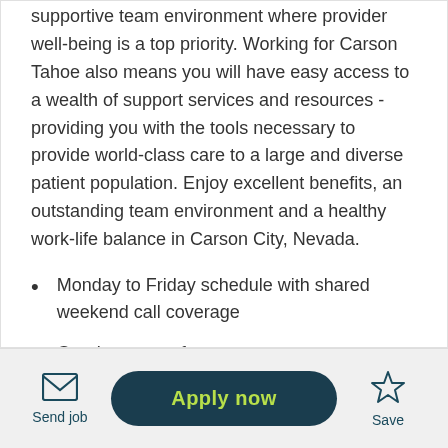supportive team environment where provider well-being is a top priority. Working for Carson Tahoe also means you will have easy access to a wealth of support services and resources - providing you with the tools necessary to provide world-class care to a large and diverse patient population. Enjoy excellent benefits, an outstanding team environment and a healthy work-life balance in Carson City, Nevada.
Monday to Friday schedule with shared weekend call coverage
Good amount of autonomy
Sign-on bonus and relocation assistance available
Send job | Apply now | Save